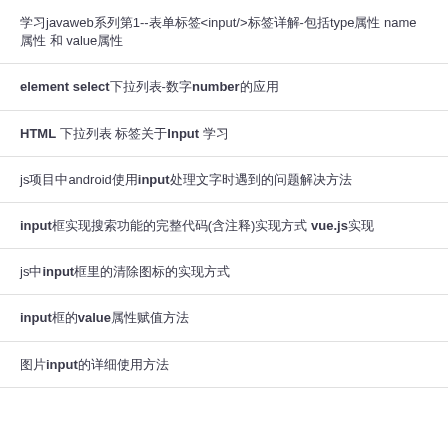学习javaweb系列第1--表单标签<input/>标签详解-包括type属性 name属性 和 value属性
element select下拉列表-数字number的应用
HTML 下拉列表 标签关于Input 学习
js项目中android使用input处理文字时遇到的问题解决方法
input框实现搜索功能的完整代码(含注释)实现方式 vue.js实现
js中input框里的清除图标的实现方式
input框的value属性赋值方法
图片input的详细使用方法